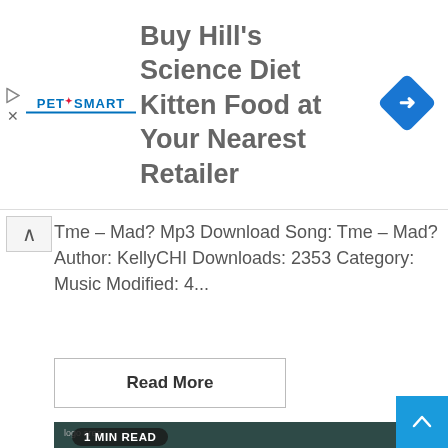[Figure (photo): PetSmart advertisement banner: logo on left, text 'Buy Hill's Science Diet Kitten Food at Your Nearest Retailer' in center, blue diamond arrow icon on right]
Tme – Mad? Mp3 Download Song: Tme – Mad? Author: KellyCHI Downloads: 2353 Category: Music Modified: 4...
Read More
[Figure (photo): Portrait of a young Black woman with braided hair wearing a white blazer, surrounded by butterfly and leaf motifs, dark teal background. Badge reads '1 MIN READ'.]